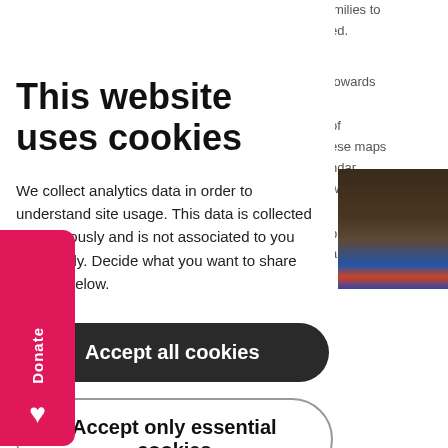imilies to ed.
towards
of ese maps ndar. we know
pproach amily is
[Figure (photo): Partial photo of a person wearing a colorful head wrap, visible in the lower right corner of the page.]
This website uses cookies
We collect analytics data in order to understand site usage. This data is collected anonymously and is not associated to you personally. Decide what you want to share with us below.
Accept all cookies
Accept only essential cookies
More info